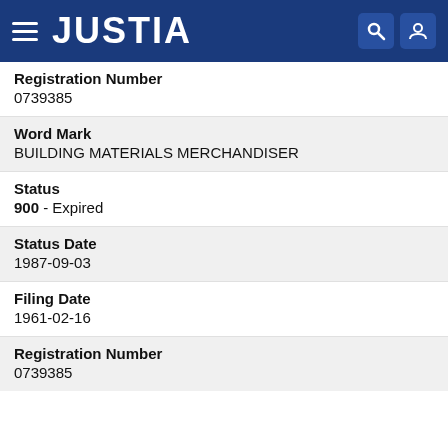JUSTIA
Registration Number
0739385
Word Mark
BUILDING MATERIALS MERCHANDISER
Status
900 - Expired
Status Date
1987-09-03
Filing Date
1961-02-16
Registration Number
0739385